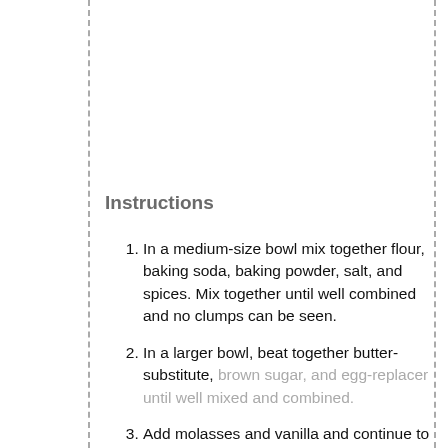Instructions
In a medium-size bowl mix together flour, baking soda, baking powder, salt, and spices. Mix together until well combined and no clumps can be seen.
In a larger bowl, beat together butter-substitute, brown sugar, and egg-replacer until well mixed and combined.
Add molasses and vanilla and continue to mix until combined.